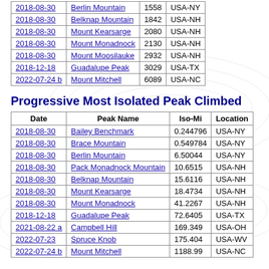| Date | Peak Name |  | Location |
| --- | --- | --- | --- |
| 2018-08-30 | Berlin Mountain | 1558 | USA-NY |
| 2018-08-30 | Belknap Mountain | 1842 | USA-NH |
| 2018-08-30 | Mount Kearsarge | 2080 | USA-NH |
| 2018-08-30 | Mount Monadnock | 2130 | USA-NH |
| 2018-08-30 | Mount Moosilauke | 2932 | USA-NH |
| 2018-12-18 | Guadalupe Peak | 3029 | USA-TX |
| 2022-07-24 b | Mount Mitchell | 6089 | USA-NC |
Progressive Most Isolated Peak Climbed
| Date | Peak Name | Iso-Mi | Location |
| --- | --- | --- | --- |
| 2018-08-30 | Bailey Benchmark | 0.244796 | USA-NY |
| 2018-08-30 | Brace Mountain | 0.549784 | USA-NY |
| 2018-08-30 | Berlin Mountain | 6.50044 | USA-NY |
| 2018-08-30 | Pack Monadnock Mountain | 10.6515 | USA-NH |
| 2018-08-30 | Belknap Mountain | 15.6116 | USA-NH |
| 2018-08-30 | Mount Kearsarge | 18.4734 | USA-NH |
| 2018-08-30 | Mount Monadnock | 41.2267 | USA-NH |
| 2018-12-18 | Guadalupe Peak | 72.6405 | USA-TX |
| 2021-08-22 a | Campbell Hill | 169.349 | USA-OH |
| 2022-07-23 | Spruce Knob | 175.404 | USA-WV |
| 2022-07-24 b | Mount Mitchell | 1188.99 | USA-NC |